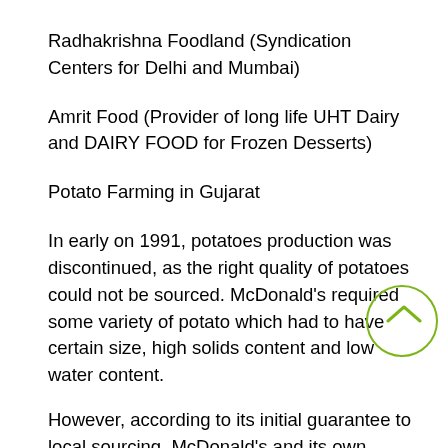Radhakrishna Foodland (Syndication Centers for Delhi and Mumbai)
Amrit Food (Provider of long life UHT Dairy and DAIRY FOOD for Frozen Desserts)
Potato Farming in Gujarat
In early on 1991, potatoes production was discontinued, as the right quality of potatoes could not be sourced. McDonald's required some variety of potato which had to have certain size, high solids content and low water content.
However, according to its initial guarantee to local sourcing, McDonald's and its own supplier spouse, McCain Foods Pvt. Ltd. (the world's most significant French fries company), proved helpful directly with farmers in Gujarat and Maharashtra to develop process...